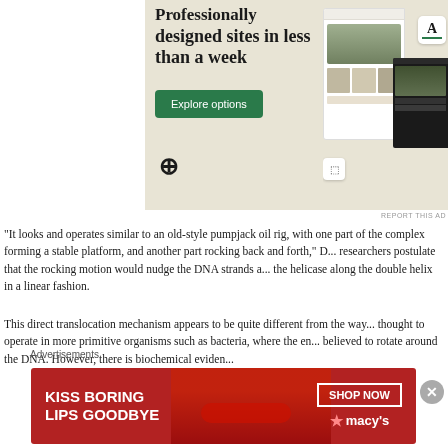[Figure (screenshot): WordPress.com advertisement showing 'Professionally designed sites in less than a week' with an Explore options button and website mockups]
REPORT THIS AD
“It looks and operates similar to an old-style pumpjack oil rig, with one part of the complex forming a stable platform, and another part rocking back and forth,” D... researchers postulate that the rocking motion would nudge the DNA strands a... the helicase along the double helix in a linear fashion.
This direct translocation mechanism appears to be quite different from the way... thought to operate in more primitive organisms such as bacteria, where the en... believed to rotate around the DNA. However, there is biochemical eviden...
Advertisements
[Figure (screenshot): Macy's advertisement: KISS BORING LIPS GOODBYE with SHOP NOW button and Macy's star logo, featuring a woman's face with red lips]